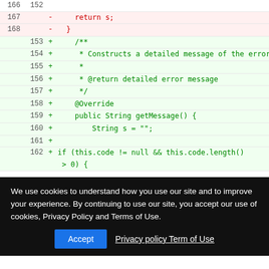| old | new | sign | code |
| --- | --- | --- | --- |
| 166 | 152 |  |  |
| 167 |  | - |     return s; |
| 168 |  | - |   } |
|  | 153 | + |     /** |
|  | 154 | + |      * Constructs a detailed message of the error. |
|  | 155 | + |      * |
|  | 156 | + |      * @return detailed error message |
|  | 157 | + |      */ |
|  | 158 | + |     @Override |
|  | 159 | + |     public String getMessage() { |
|  | 160 | + |         String s = ""; |
|  | 161 | + |  |
|  | 162 | + |         if (this.code != null && this.code.length()
> 0) { |
We use cookies to understand how you use our site and to improve your experience. By continuing to use our site, you accept our use of cookies, Privacy Policy and Terms of Use.
Accept   Privacy policy  Term of Use